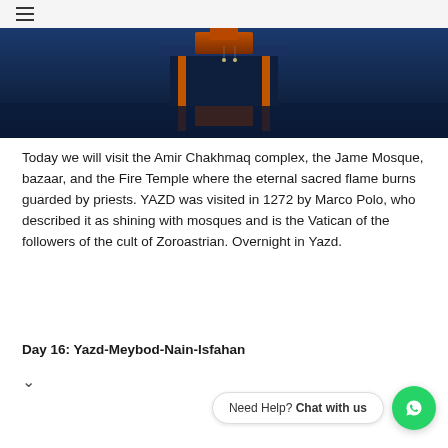☰
[Figure (photo): Nighttime photo of the Amir Chakhmaq complex or similar Iranian architectural structure illuminated in blue and orange tones, with decorative elements reflected against a dark background.]
Today we will visit the Amir Chakhmaq complex, the Jame Mosque, bazaar, and the Fire Temple where the eternal sacred flame burns guarded by priests. YAZD was visited in 1272 by Marco Polo, who described it as shining with mosques and is the Vatican of the followers of the cult of Zoroastrian. Overnight in Yazd.
Day 16: Yazd-Meybod-Nain-Isfahan
▾
Need Help? Chat with us